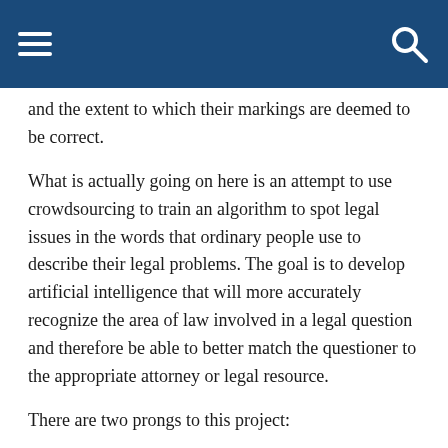[Navigation header with hamburger menu and search icon]
and the extent to which their markings are deemed to be correct.
What is actually going on here is an attempt to use crowdsourcing to train an algorithm to spot legal issues in the words that ordinary people use to describe their legal problems. The goal is to develop artificial intelligence that will more accurately recognize the area of law involved in a legal question and therefore be able to better match the questioner to the appropriate attorney or legal resource.
There are two prongs to this project:
Create a taxonomy of legal help issues. Hagan and her team at Stanford are taking the lead on